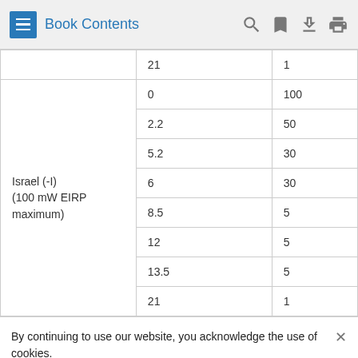Book Contents
|  | 21 | 1 |
| Israel (-I)
(100 mW EIRP maximum) | 0 | 100 |
|  | 2.2 | 50 |
|  | 5.2 | 30 |
|  | 6 | 30 |
|  | 8.5 | 5 |
|  | 12 | 5 |
|  | 13.5 | 5 |
|  | 21 | 1 |
By continuing to use our website, you acknowledge the use of cookies.
Privacy Statement > Change Settings >